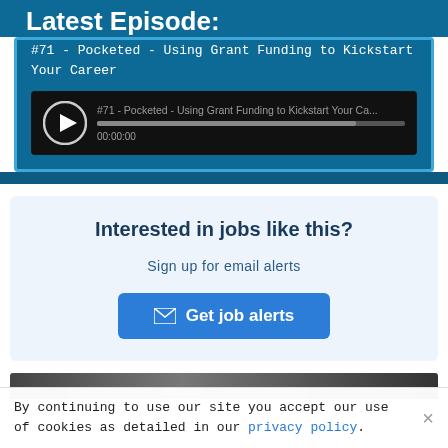Latest Episode:
#71 - Pocketed - Using Grant Funding to Kickstart Your Career
[Figure (screenshot): Audio player widget showing episode '#71 - Pocketed - Using Grant Funding to Kickstart Your Ca...' with a play button, progress bar, and timestamp 00:00:00]
Interested in jobs like this?
Sign up for email alerts
Get job alerts
[Figure (photo): Partial image strip at bottom of job alerts card]
By continuing to use our site you accept our use of cookies as detailed in our privacy policy.